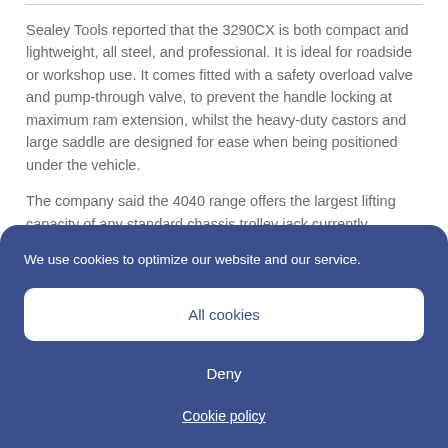Sealey Tools reported that the 3290CX is both compact and lightweight, all steel, and professional. It is ideal for roadside or workshop use. It comes fitted with a safety overload valve and pump-through valve, to prevent the handle locking at maximum ram extension, whilst the heavy-duty castors and large saddle are designed for ease when being positioned under the vehicle.
The company said the 4040 range offers the largest lifting capacity of any standard chassis trolley jack currently available.
We use cookies to optimize our website and our service.
All cookies
Deny
Cookie policy